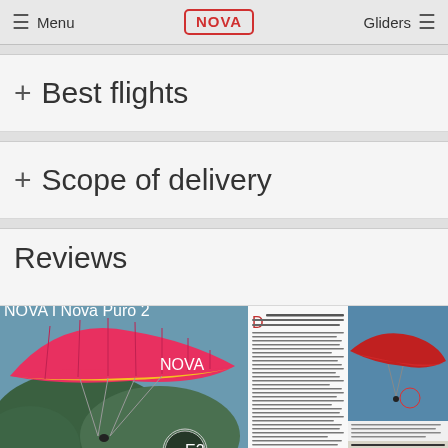Menu | NOVA | Gliders
+ Best flights
+ Scope of delivery
Reviews
[Figure (photo): Magazine review pages showing a red/pink/yellow Nova paraglider canopy against mountain background with NOVA branding, and a secondary page showing another paraglider wing in red against blue sky]